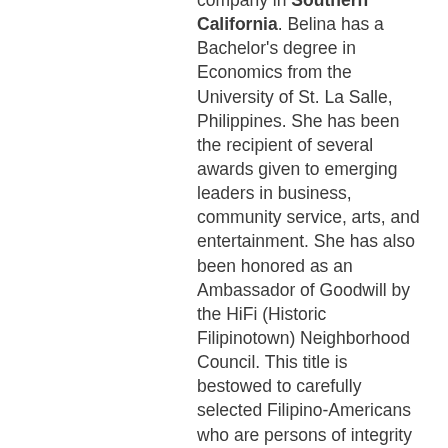company in Southern California. Belina has a Bachelor's degree in Economics from the University of St. La Salle, Philippines. She has been the recipient of several awards given to emerging leaders in business, community service, arts, and entertainment. She has also been honored as an Ambassador of Goodwill by the HiFi (Historic Filipinotown) Neighborhood Council. This title is bestowed to carefully selected Filipino-Americans who are persons of integrity who have the ability "to promote, reach out, influence and mobilize public interest and support of the ideals, values